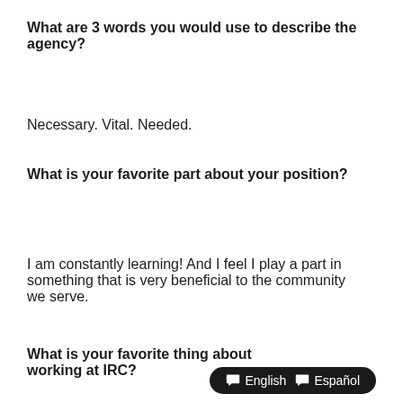What are 3 words you would use to describe the agency?
Necessary. Vital. Needed.
What is your favorite part about your position?
I am constantly learning! And I feel I play a part in something that is very beneficial to the community we serve.
What is your favorite thing about working at IRC?
English  Español